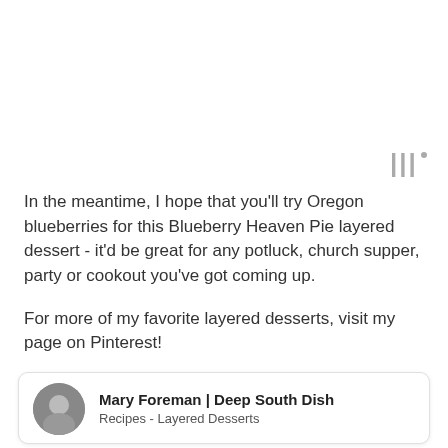[Figure (other): Watermark/logo icon in light gray, resembling stylized triple lines or signal bars with a small superscript circle]
In the meantime, I hope that you'll try Oregon blueberries for this Blueberry Heaven Pie layered dessert - it'd be great for any potluck, church supper, party or cookout you've got coming up.
For more of my favorite layered desserts, visit my page on Pinterest!
[Figure (other): Pinterest board card showing avatar of Mary Foreman and board title 'Recipes - Layered Desserts' with thumbnail food images below]